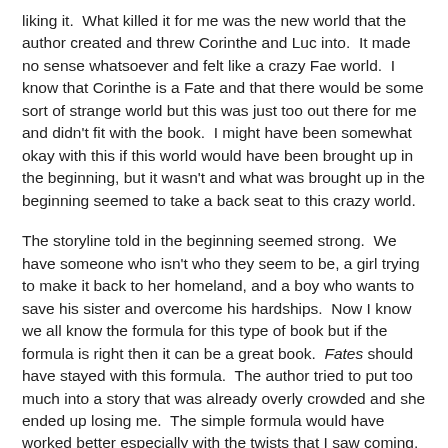liking it.  What killed it for me was the new world that the author created and threw Corinthe and Luc into.  It made no sense whatsoever and felt like a crazy Fae world.  I know that Corinthe is a Fate and that there would be some sort of strange world but this was just too out there for me and didn't fit with the book.  I might have been somewhat okay with this if this world would have been brought up in the beginning, but it wasn't and what was brought up in the beginning seemed to take a back seat to this crazy world.
The storyline told in the beginning seemed strong.  We have someone who isn't who they seem to be, a girl trying to make it back to her homeland, and a boy who wants to save his sister and overcome his hardships.  Now I know we all know the formula for this type of book but if the formula is right then it can be a great book.  Fates should have stayed with this formula.  The author tried to put too much into a story that was already overly crowded and she ended up losing me.  The simple formula would have worked better especially with the twists that I saw coming, it could have been a brilliant read.